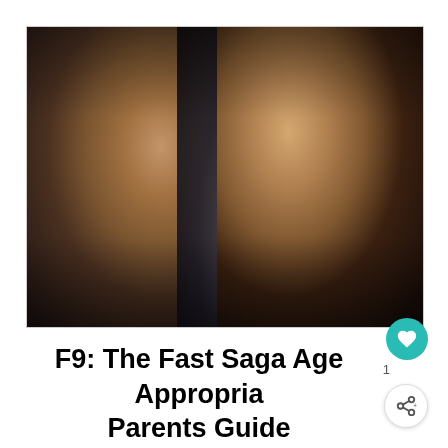[Figure (photo): Two men facing each other in a tense confrontation scene from the movie F9: The Fast Saga. The man on the left is bald wearing a black tank top. The man on the right has his mouth open in an aggressive yell.]
F9: The Fast Saga Age Appropriate Parents Guide